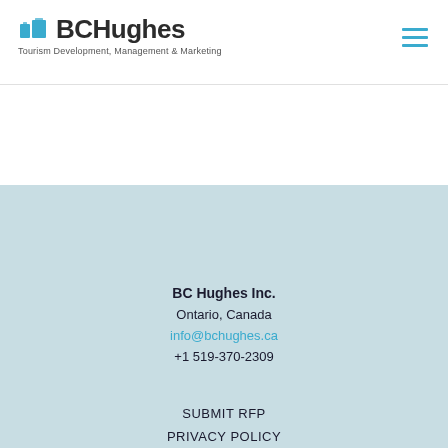[Figure (logo): BCHughes logo with suitcase icon and tagline 'Tourism Development, Management & Marketing']
[Figure (other): Hamburger menu icon (three horizontal lines) in blue]
BC Hughes Inc.
Ontario, Canada
info@bchughes.ca
+1 519-370-2309
SUBMIT RFP
PRIVACY POLICY